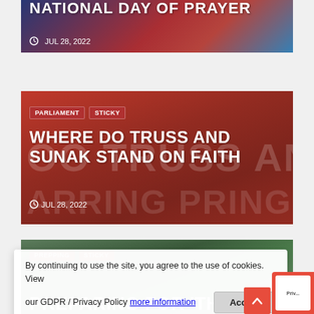[Figure (photo): Partial top card showing 'NATIONAL DAY OF PRAYER' headline over a Union Jack background, dated JUL 28, 2022]
[Figure (photo): Card showing 'WHERE DO TRUSS AND SUNAK STAND ON FAITH' article with tags PARLIAMENT and STICKY on red background, dated JUL 28, 2022]
By continuing to use the site, you agree to the use of cookies. View our GDPR / Privacy Policy more information
[Figure (photo): Partial bottom card with tags PREPPING and STICKY, showing start of headline 'PREPARING FOR THE']